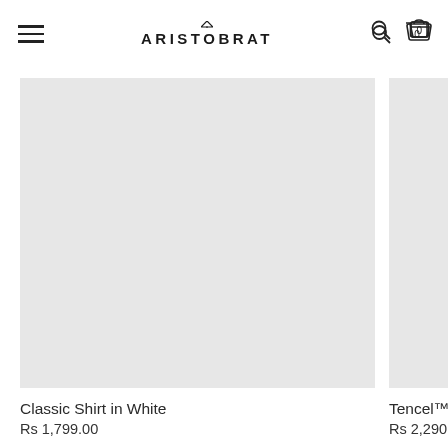ARISTOBRAT
[Figure (photo): Product image placeholder for Classic Shirt in White — large light gray rectangle]
Classic Shirt in White
Rs 1,799.00
[Figure (photo): Product image placeholder for Tencel™ Shirt — partially visible light gray rectangle on right]
Tencel™ Shir
Rs 2,290.00